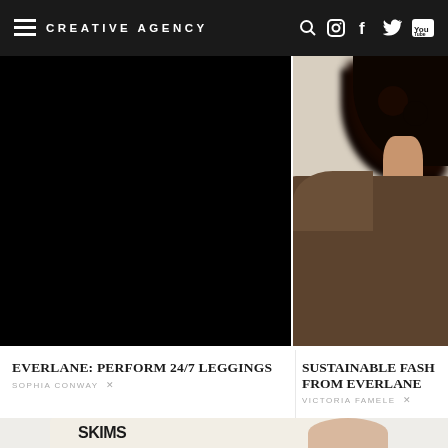CREATIVE AGENCY
[Figure (photo): Left image: dark/black image (Everlane leggings product). Right image: Person with curly dark hair wearing a brown knit sweater, back turned slightly.]
EVERLANE: PERFORM 24/7 LEGGINGS
SOPHIA CONWAY ✕
SUSTAINABLE FASH… FROM EVERLANE
VICTORIA FAMELE ✕
[Figure (photo): SKIMS brand image — woman with dark hair in white outfit, SKIMS logo visible on pillow/bag in foreground.]